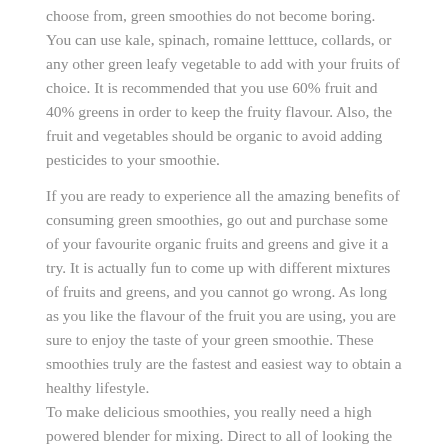choose from, green smoothies do not become boring. You can use kale, spinach, romaine letttuce, collards, or any other green leafy vegetable to add with your fruits of choice. It is recommended that you use 60% fruit and 40% greens in order to keep the fruity flavour. Also, the fruit and vegetables should be organic to avoid adding pesticides to your smoothie.
If you are ready to experience all the amazing benefits of consuming green smoothies, go out and purchase some of your favourite organic fruits and greens and give it a try. It is actually fun to come up with different mixtures of fruits and greens, and you cannot go wrong. As long as you like the flavour of the fruit you are using, you are sure to enjoy the taste of your green smoothie. These smoothies truly are the fastest and easiest way to obtain a healthy lifestyle.
To make delicious smoothies, you really need a high powered blender for mixing. Direct to all of looking the